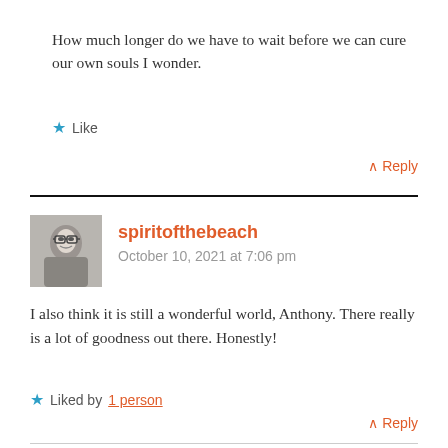How much longer do we have to wait before we can cure our own souls I wonder.
★ Like
^ Reply
spiritofthebeach
October 10, 2021 at 7:06 pm
I also think it is still a wonderful world, Anthony. There really is a lot of goodness out there. Honestly!
★ Liked by 1 person
^ Reply